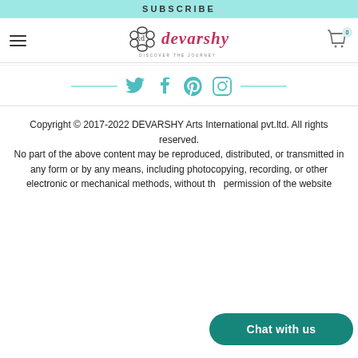SUBSCRIBE
[Figure (logo): Devarshy Arts International logo with ornamental symbol and stylized text]
[Figure (infographic): Social media icons: Twitter, Facebook, Pinterest, Instagram with teal decorative lines on either side]
Copyright © 2017-2022 DEVARSHY Arts International pvt.ltd. All rights reserved. No part of the above content may be reproduced, distributed, or transmitted in any form or by any means, including photocopying, recording, or other electronic or mechanical methods, without the permission of the website
Chat with us